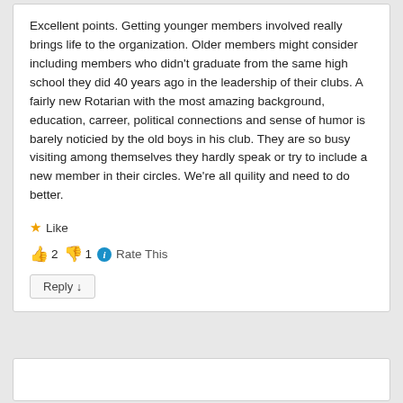Excellent points. Getting younger members involved really brings life to the organization. Older members might consider including members who didn't graduate from the same high school they did 40 years ago in the leadership of their clubs. A fairly new Rotarian with the most amazing background, education, carreer, political connections and sense of humor is barely noticied by the old boys in his club. They are so busy visiting among themselves they hardly speak or try to include a new member in their circles. We're all quility and need to do better.
★ Like
👍 2 👎 1 ℹ Rate This
Reply ↓